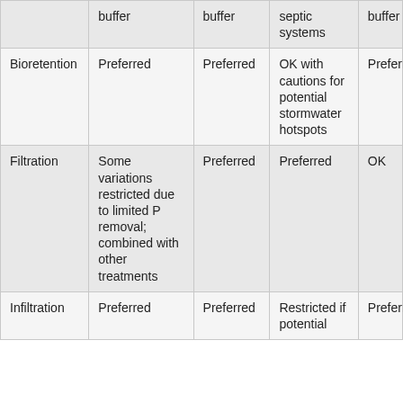|  | buffer | buffer | septic systems | buffer |
| Bioretention | Preferred | Preferred | OK with cautions for potential stormwater hotspots | Preferred |
| Filtration | Some variations restricted due to limited P removal; combined with other treatments | Preferred | Preferred | OK |
| Infiltration | Preferred | Preferred | Restricted if potential | Preferred |